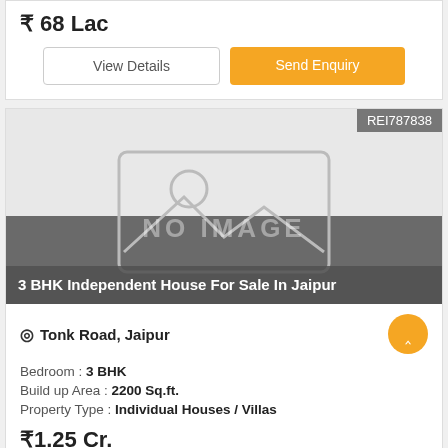₹ 68 Lac
View Details | Send Enquiry
REI787838
[Figure (photo): No image placeholder with mountain/landscape icon and NO IMAGE watermark text]
3 BHK Independent House For Sale In Jaipur
Tonk Road, Jaipur
Bedroom : 3 BHK
Build up Area : 2200 Sq.ft.
Property Type : Individual Houses / Villas
₹1.25 Cr.
View Details | Send Enquiry